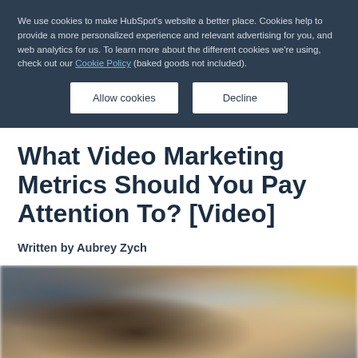We use cookies to make HubSpot's website a better place. Cookies help to provide a more personalized experience and relevant advertising for you, and web analytics for us. To learn more about the different cookies we're using, check out our Cookie Policy (baked goods not included).
[Figure (other): Two buttons: 'Allow cookies' and 'Decline' on the cookie consent banner]
What Video Marketing Metrics Should You Pay Attention To? [Video]
Written by Aubrey Zych
[Figure (photo): Blurred photo of a person with long brown hair looking at a tablet/smartphone device, shot from above at an angle]